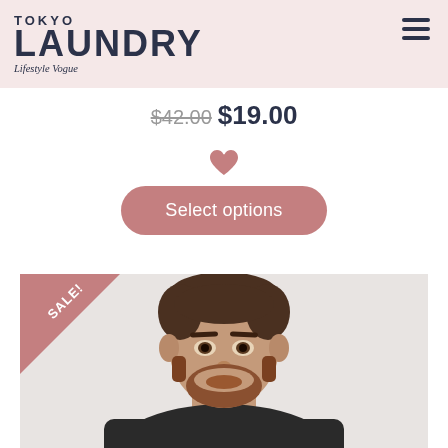TOKYO LAUNDRY Lifestyle Vogue
$42.00 $19.00
[Figure (illustration): Pink heart icon (wishlist/favorite button)]
Select options
[Figure (photo): Man wearing dark jacket, portrait photo with SALE! badge in top-left corner]